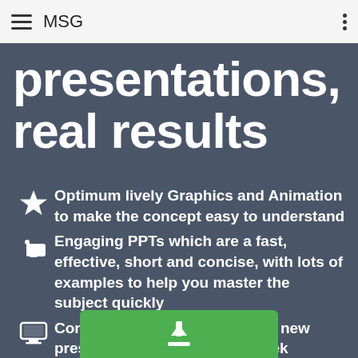MSG
presentations, real results
Optimum lively Graphics and Animation to make the concept easy to understand
Engaging PPTs which are a fast, effective, short and concise, with lots of examples to help you master the subject quickly
Continuous learning platform - new presentations added every week
[Figure (other): Green download button at the bottom of the page]